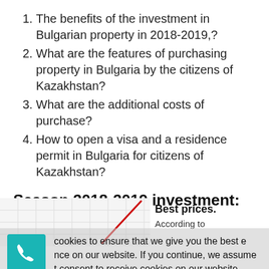The benefits of the investment in Bulgarian property in 2018-2019,?
What are the features of purchasing property in Bulgaria by the citizens of Kazakhstan?
What are the additional costs of purchase?
How to open a visa and a residence permit in Bulgaria for citizens of Kazakhstan?
Season 2018-2019 investment: why now?
[Figure (continuous-plot): Partial line chart showing an upward red trend line on a grid background, partially obscured by cookie consent overlay]
Best prices. According to
cookies to ensure that we give you the best experience on our website. If you continue, we assume that you consent to receive cookies on our website. Read
OK